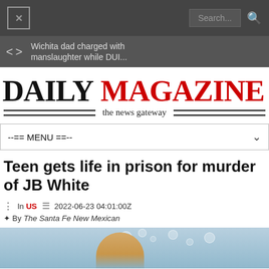Daily Magazine - the news gateway
Wichita dad charged with manslaughter while DUI...
DAILY MAGAZINE the news gateway
--== MENU ==--
Teen gets life in prison for murder of JB White
In US  2022-06-23 04:01:00Z  By The Santa Fe New Mexican
[Figure (photo): Photo of a person, partially visible, with bubbles in background against a light blue background]